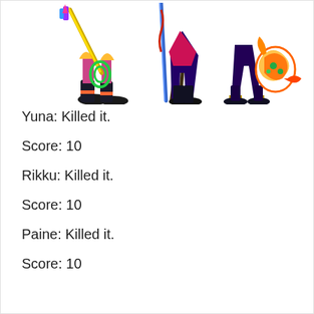[Figure (illustration): Colorful video game characters (Yuna, Rikku, Paine from Final Fantasy X-2) shown from roughly mid-body down, holding weapons and accessories in vibrant colors against a white background.]
Yuna: Killed it.
Score: 10
Rikku: Killed it.
Score: 10
Paine: Killed it.
Score: 10